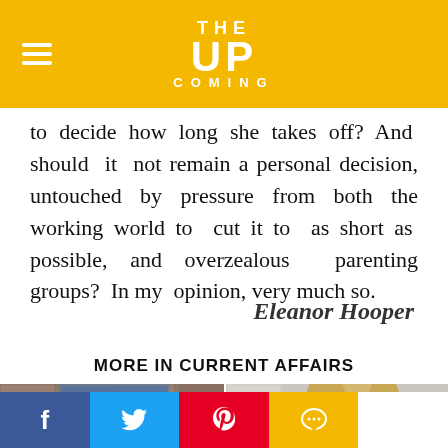THE UP COMING
to decide how long she takes off? And should it not remain a personal decision, untouched by pressure from both the working world to cut it to as short as possible, and overzealous parenting groups? In my opinion, very much so.
Eleanor Hooper
MORE IN CURRENT AFFAIRS
[Figure (photo): Person holding a megaphone in front of a brick building]
[Figure (photo): Young woman with glasses and blonde hair against a light brick wall]